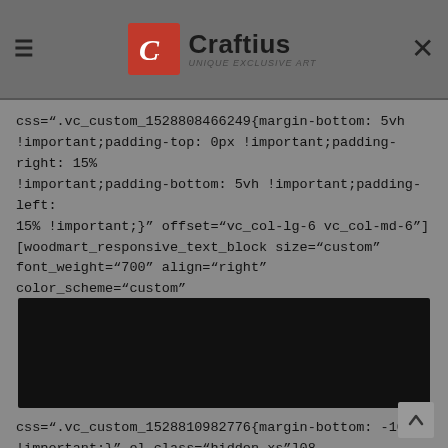Craftius — Unique Exclusive Art
css=".vc_custom_1528808466249{margin-bottom: 5vh !important;padding-top: 0px !important;padding-right: 15% !important;padding-bottom: 5vh !important;padding-left: 15% !important;}" offset="vc_col-lg-6 vc_col-md-6"] [woodmart_responsive_text_block size="custom" font_weight="700" align="right" color_scheme="custom"
[Figure (other): Black redacted/obscured bar covering code content]
css=".vc_custom_1528810982776{margin-bottom: -100px !important;}" el_class="hidden-xs"]08. [/woodmart_responsive_text_block] [woodmart_responsive_text_block font="text" size="small" align="left" color_scheme="custom" css_animation="wd-bottom-flip-x" color="#bfbfbf" css=".vc_custom_1528811002264{margin-bottom: 10px !important;}